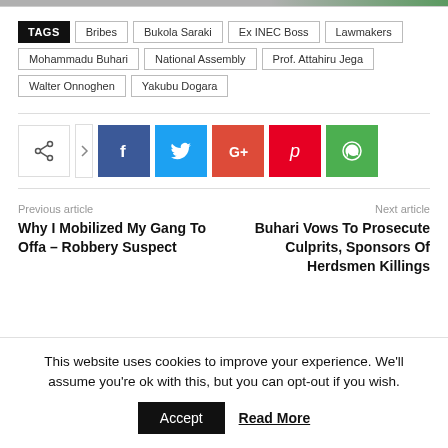[Figure (photo): Top image strip (partially visible)]
TAGS  Bribes  Bukola Saraki  Ex INEC Boss  Lawmakers  Mohammadu Buhari  National Assembly  Prof. Attahiru Jega  Walter Onnoghen  Yakubu Dogara
[Figure (infographic): Social share buttons: share icon, Facebook, Twitter, Google+, Pinterest, WhatsApp]
Previous article
Why I Mobilized My Gang To Offa – Robbery Suspect
Next article
Buhari Vows To Prosecute Culprits, Sponsors Of Herdsmen Killings
This website uses cookies to improve your experience. We'll assume you're ok with this, but you can opt-out if you wish.
Accept  Read More